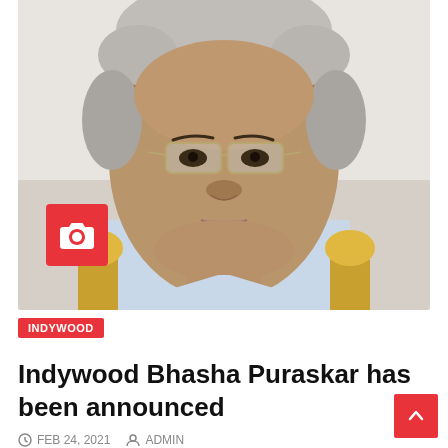[Figure (photo): Portrait photo of an elderly Indian man with grey hair wearing glasses and a light blue shirt, seated in front of a golden chair. A red camera icon overlay appears in the bottom-left of the photo.]
INDYWOOD
Indywood Bhasha Puraskar has been announced
FEB 24, 2021   ADMIN